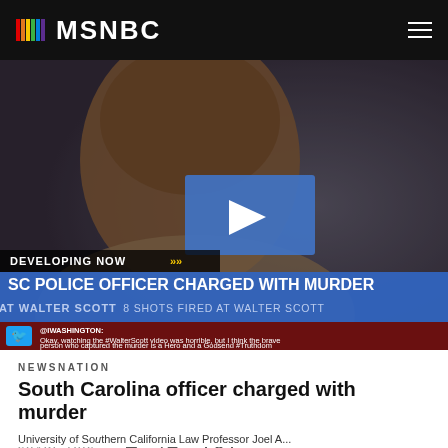MSNBC
[Figure (screenshot): MSNBC news video thumbnail showing a man's face with a blue play button overlay and lower-third chyron reading 'DEVELOPING NOW - SC POLICE OFFICER CHARGED WITH MURDER - 8 SHOTS FIRED AT WALTER SCOTT' with a Twitter ticker below.]
NEWSNATION
South Carolina officer charged with murder
SHARE THIS -
University of Southern California Law Professor Joel A...